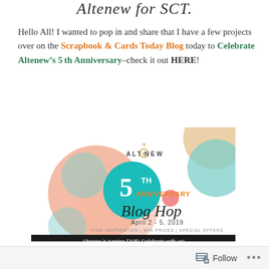Altenew for SCT.
Hello All! I wanted to pop in and share that I have a few projects over on the Scrapbook & Cards Today Blog today to Celebrate Altenew’s 5th Anniversary–check it out HERE!
[Figure (illustration): Altenew 5th Anniversary Blog Hop promotional banner. April 2 - 5, 2019. Find Inspiration | Win Prizes | Special Offers. Altenew is turning FIVE! Celebrate with us!]
Here’s a sneak! 🙂